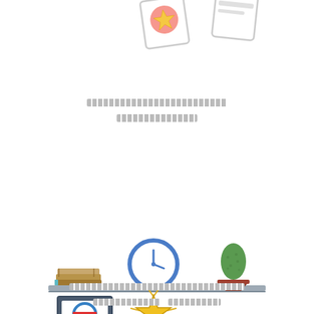[Figure (illustration): Partial view of floating cards/notes with star icon at top of page]
[redacted text line 1]
[redacted text line 2]
[Figure (illustration): Two decorative shelves with items: books, clock, cactus in pot, framed artwork, gold star trophy, small box]
[redacted text line 3]
[redacted text line 4 and 5]